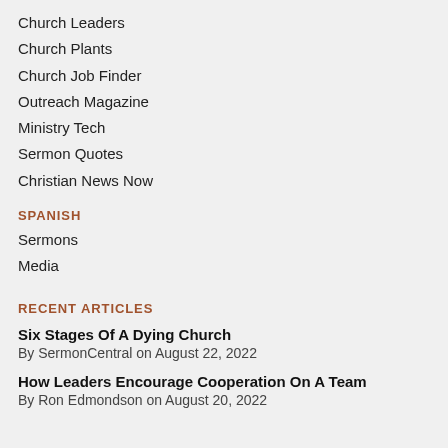Church Leaders
Church Plants
Church Job Finder
Outreach Magazine
Ministry Tech
Sermon Quotes
Christian News Now
SPANISH
Sermons
Media
RECENT ARTICLES
Six Stages Of A Dying Church
By SermonCentral on August 22, 2022
How Leaders Encourage Cooperation On A Team
By Ron Edmondson on August 20, 2022